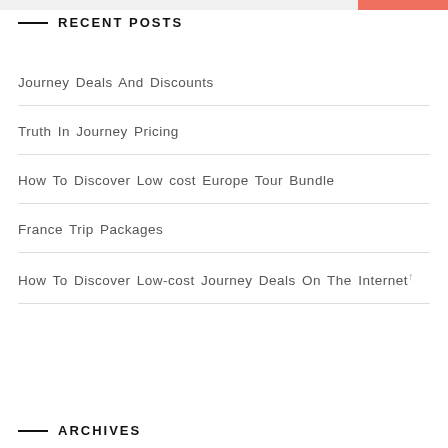RECENT POSTS
Journey Deals And Discounts
Truth In Journey Pricing
How To Discover Low cost Europe Tour Bundle
France Trip Packages
How To Discover Low-cost Journey Deals On The Internet
ARCHIVES